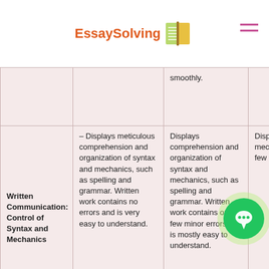EssaySolving [logo]
|  |  |  |  |
| --- | --- | --- | --- |
|  |  | smoothly. | Disp... |
| Written Communication: Control of Syntax and Mechanics | – Displays meticulous comprehension and organization of syntax and mechanics, such as spelling and grammar. Written work contains no errors and is very easy to understand. | Displays comprehension and organization of syntax and mechanics, such as spelling and grammar. Written work contains only a few minor errors and is mostly easy to understand. | Disp... com... sym... mec... spe... gra... wor... few... may... the... |
|  |  |  |  |